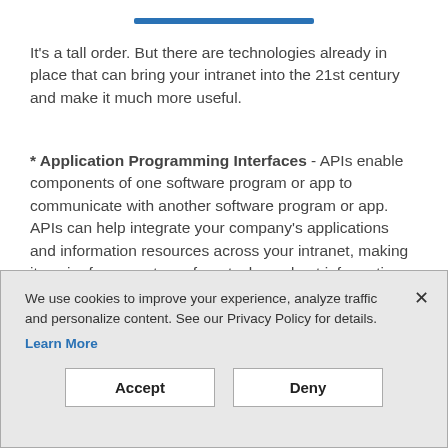It's a tall order. But there are technologies already in place that can bring your intranet into the 21st century and make it much more useful.
* Application Programming Interfaces - APIs enable components of one software program or app to communicate with another software program or app. APIs can help integrate your company's applications and information resources across your intranet, making it easier for users to perform tasks and get information efficiently.
[Figure (screenshot): Cookie consent banner with text 'We use cookies to improve your experience, analyze traffic and personalize content. See our Privacy Policy for details.' with a Learn More link, Accept and Deny buttons, and a close X button.]